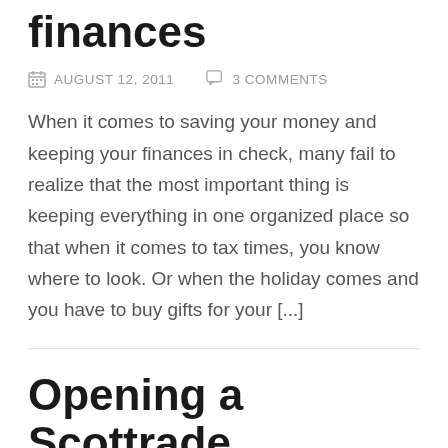finances
AUGUST 12, 2011   3 COMMENTS
When it comes to saving your money and keeping your finances in check, many fail to realize that the most important thing is keeping everything in one organized place so that when it comes to tax times, you know where to look. Or when the holiday comes and you have to buy gifts for your [...]
Opening a Scottrade brokerage account